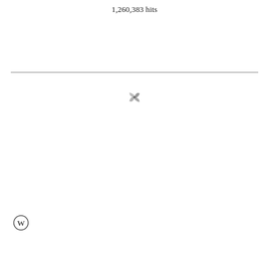1,260,383 hits
[Figure (logo): Pinwheel/spinner icon, small, gray, centered on page below horizontal rule]
[Figure (logo): WordPress logo circle icon, bottom left corner]